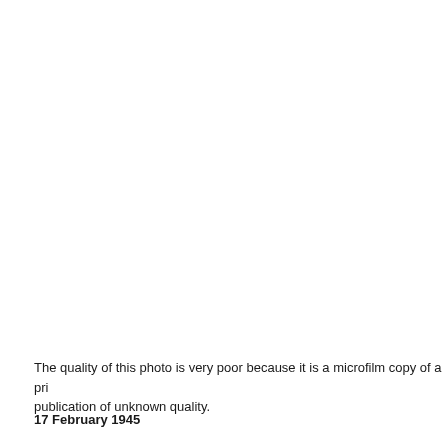The quality of this photo is very poor because it is a microfilm copy of a pri publication of unknown quality.
17 February 1945